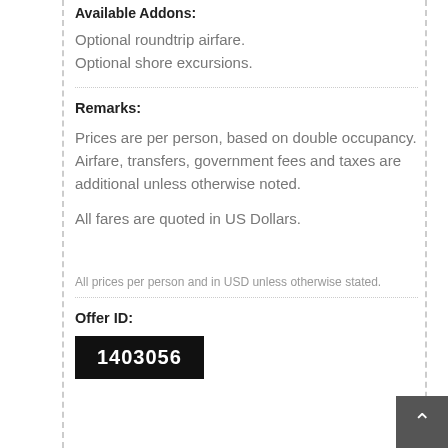Available Addons:
Optional roundtrip airfare.
Optional shore excursions.
Remarks:
Prices are per person, based on double occupancy. Airfare, transfers, government fees and taxes are additional unless otherwise noted.
All fares are quoted in US Dollars.
All prices per person and in USD unless otherwise stated.
Offer ID:
1403056